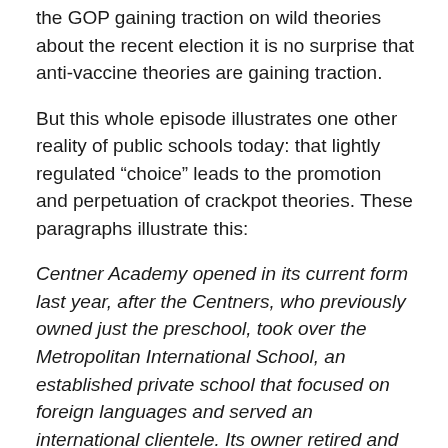the GOP gaining traction on wild theories about the recent election it is no surprise that anti-vaccine theories are gaining traction.
But this whole episode illustrates one other reality of public schools today: that lightly regulated “choice” leads to the promotion and perpetuation of crackpot theories. These paragraphs illustrate this:
Centner Academy opened in its current form last year, after the Centners, who previously owned just the preschool, took over the Metropolitan International School, an established private school that focused on foreign languages and served an international clientele. Its owner retired and said the school would merge with the preschool owned by the Centners, who have donated heavily in recent years to the Republican Party and former President Donald T...